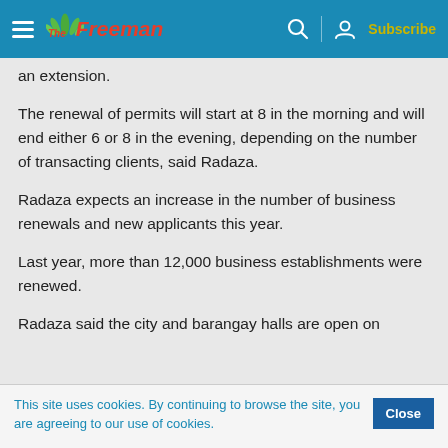The Freeman — Subscribe
an extension.
The renewal of permits will start at 8 in the morning and will end either 6 or 8 in the evening, depending on the number of transacting clients, said Radaza.
Radaza expects an increase in the number of business renewals and new applicants this year.
Last year, more than 12,000 business establishments were renewed.
Radaza said the city and barangay halls are open on
This site uses cookies. By continuing to browse the site, you are agreeing to our use of cookies.